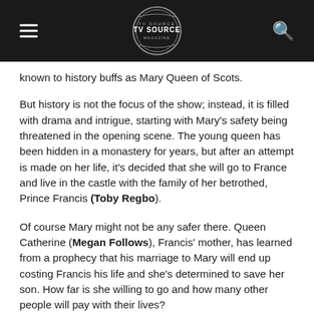TV Source Magazine
known to history buffs as Mary Queen of Scots.
But history is not the focus of the show; instead, it is filled with drama and intrigue, starting with Mary's safety being threatened in the opening scene. The young queen has been hidden in a monastery for years, but after an attempt is made on her life, it's decided that she will go to France and live in the castle with the family of her betrothed, Prince Francis (Toby Regbo).
Of course Mary might not be any safer there. Queen Catherine (Megan Follows), Francis' mother, has learned from a prophecy that his marriage to Mary will end up costing Francis his life and she's determined to save her son. How far is she willing to go and how many other people will pay with their lives?